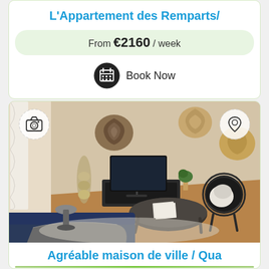L'Appartement des Remparts/...
From €2160 / week
Book Now
[Figure (photo): Interior photo of a modern apartment living room with a TV unit, round coffee table, wicker chair, decorative wall baskets, and a sofa with grey throw. Overlaid with a camera icon (top-left) and a location pin icon (top-right).]
Agréable maison de ville / Qua...
Book Now